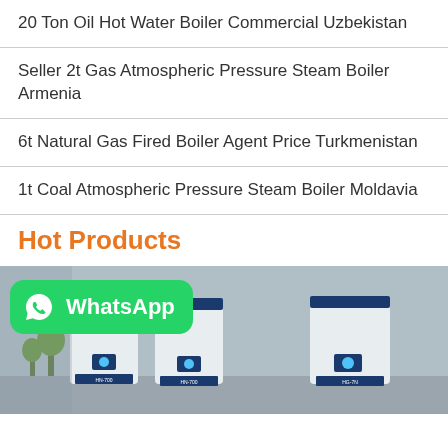20 Ton Oil Hot Water Boiler Commercial Uzbekistan
Seller 2t Gas Atmospheric Pressure Steam Boiler Armenia
6t Natural Gas Fired Boiler Agent Price Turkmenistan
1t Coal Atmospheric Pressure Steam Boiler Moldavia
Hot Products
[Figure (photo): Industrial boiler units lined up outdoors with a WhatsApp contact badge overlay in the lower-left corner]